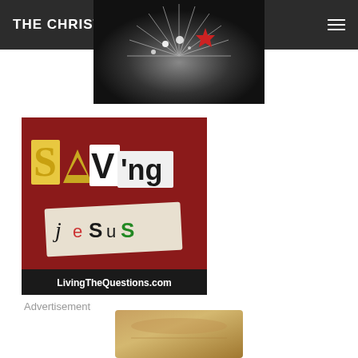THE CHRISTIAN LEFT BLOG
[Figure (illustration): Dark decorative banner with starburst light rays and a red star, abstract music/celebration theme]
[Figure (illustration): Saving Jesus advertisement on red background with ransom-note style lettering, LivingTheQuestions.com]
Advertisement
[Figure (photo): Partial image of rolled or folded golden/tan colored material at bottom of page]